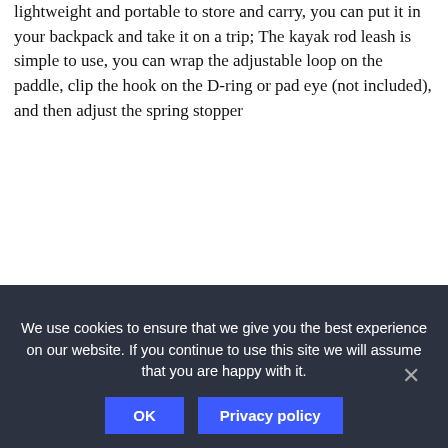lightweight and portable to store and carry, you can put it in your backpack and take it on a trip; The kayak rod leash is simple to use, you can wrap the adjustable loop on the paddle, clip the hook on the D-ring or pad eye (not included), and then adjust the spring stopper
Practical function: the fishing rod paddle leash can be applied for connecting the paddle to the kayak tightly to prevent the paddle from getting out of control, which is suitable for canoeing, kayaking, fishing rods and so on
[Figure (logo): Amazon Prime logo with orange checkmark and italic Prime text]
View product on Amazon
We use cookies to ensure that we give you the best experience on our website. If you continue to use this site we will assume that you are happy with it.
OK
Privacy policy